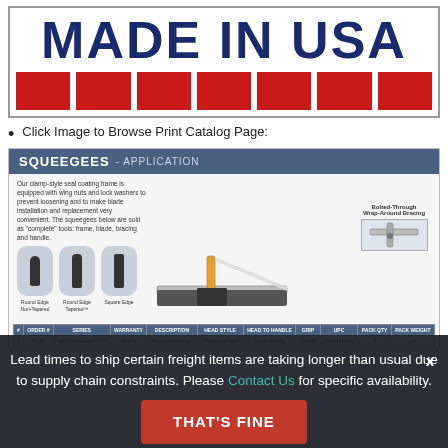[Figure (illustration): MADE IN USA logo with bold navy blue text and decorative red bar elements below]
Click Image to Browse Print Catalog Page:
[Figure (screenshot): Preview of a print catalog page showing SQUEEGEES - APPLICATION section with product images (round edge non-tapered, round edge tapered, square edge blade types), a squeegee tool photo, and a product data table with columns for item #, order #, series, warranty, description, head style, head to handle, grip, UPC, pack qty, pack weight.]
Lead times to ship certain freight items are taking longer than usual due to supply chain constraints. Please Contact Us for specific availability.